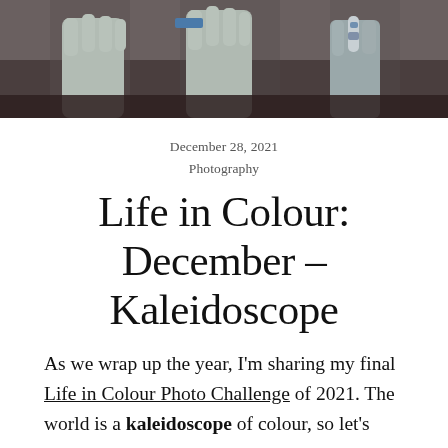[Figure (photo): Top portion of a photograph showing figures wearing light gray gloves and coverings, against a dark brown surface/counter background.]
December 28, 2021
Photography
Life in Colour: December – Kaleidoscope
As we wrap up the year, I'm sharing my final Life in Colour Photo Challenge of 2021. The world is a kaleidoscope of colour, so let's celebrate that with the most bright and colourful images we can find.